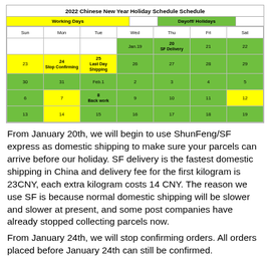| Sun | Mon | Tue | Wed | Thu | Fri | Sat |
| --- | --- | --- | --- | --- | --- | --- |
|  |  |  | Jan.19 | 20 SF Delivery | 21 | 22 |
| 23 | 24 Stop Confirming | 25 Last Day Shipping | 26 | 27 | 28 | 29 |
| 30 | 31 | Feb.1 | 2 | 3 | 4 | 5 |
| 6 | 7 | 8 Back work | 9 | 10 | 11 | 12 |
| 13 | 14 | 15 | 16 | 17 | 18 | 19 |
From January 20th, we will begin to use ShunFeng/SF express as domestic shipping to make sure your parcels can arrive before our holiday. SF delivery is the fastest domestic shipping in China and delivery fee for the first kilogram is 23CNY, each extra kilogram costs 14 CNY. The reason we use SF is because normal domestic shipping will be slower and slower at present, and some post companies have already stopped collecting parcels now.
From January 24th, we will stop confirming orders. All orders placed before January 24th can still be confirmed.